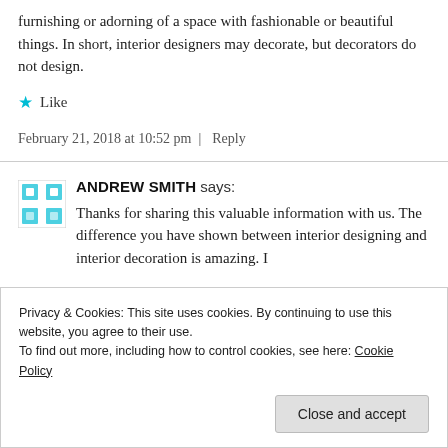furnishing or adorning of a space with fashionable or beautiful things. In short, interior designers may decorate, but decorators do not design.
★ Like
February 21, 2018 at 10:52 pm | Reply
ANDREW SMITH says:
Thanks for sharing this valuable information with us. The difference you have shown between interior designing and interior decoration is amazing. I
Privacy & Cookies: This site uses cookies. By continuing to use this website, you agree to their use.
To find out more, including how to control cookies, see here: Cookie Policy
Close and accept